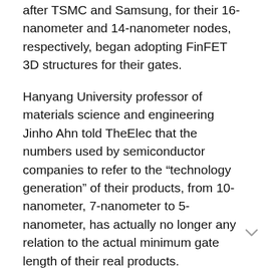after TSMC and Samsung, for their 16-nanometer and 14-nanometer nodes, respectively, began adopting FinFET 3D structures for their gates.
Hanyang University professor of materials science and engineering Jinho Ahn told TheElec that the numbers used by semiconductor companies to refer to the “technology generation” of their products, from 10-nanometer, 7-nanometer to 5-nanometer, has actually no longer any relation to the actual minimum gate length of their real products.
Rino Choi, professor of new materials science and engineering at Inha University, also shared a similar view with TheElec. In the past, each generation of